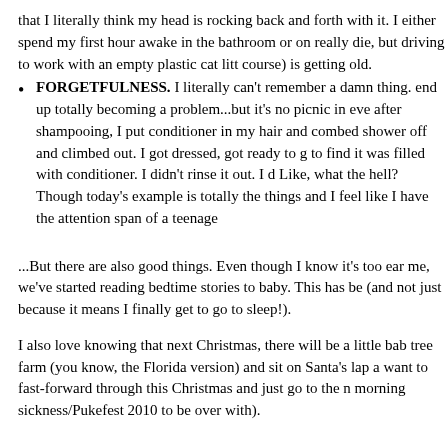that I literally think my head is rocking back and forth with it. I either spend my first hour awake in the bathroom or on really die, but driving to work with an empty plastic cat litt course) is getting old.
FORGETFULNESS. I literally can't remember a damn thing. end up totally becoming a problem...but it's no picnic in eve after shampooing, I put conditioner in my hair and combed shower off and climbed out. I got dressed, got ready to g to find it was filled with conditioner. I didn't rinse it out. I d Like, what the hell? Though today's example is totally the things and I feel like I have the attention span of a teenage
...But there are also good things. Even though I know it's too ear me, we've started reading bedtime stories to baby. This has be (and not just because it means I finally get to go to sleep!).
I also love knowing that next Christmas, there will be a little bab tree farm (you know, the Florida version) and sit on Santa's lap a want to fast-forward through this Christmas and just go to the n morning sickness/Pukefest 2010 to be over with).